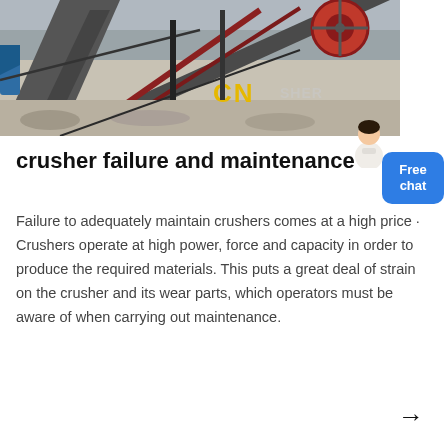[Figure (photo): Industrial crusher machinery at a quarry or mining site, showing conveyor belts, metal framework, and a red flywheel. Yellow 'CN' branding visible on equipment. Photo taken outdoors.]
crusher failure and maintenance
Failure to adequately maintain crushers comes at a high price · Crushers operate at high power, force and capacity in order to produce the required materials. This puts a great deal of strain on the crusher and its wear parts, which operators must be aware of when carrying out maintenance.